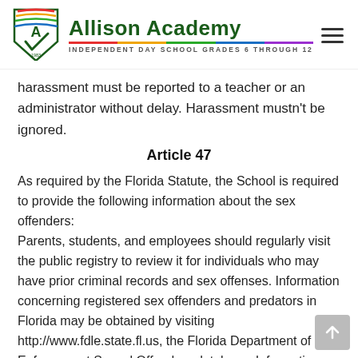[Figure (logo): Allison Academy shield logo with letter A and checkmark, year 1983, with red/yellow/green/blue colored stripes]
Allison Academy — INDEPENDENT DAY SCHOOL GRADES 6 THROUGH 12
harassment must be reported to a teacher or an administrator without delay. Harassment mustn't be ignored.
Article 47
As required by the Florida Statute, the School is required to provide the following information about the sex offenders:
Parents, students, and employees should regularly visit the public registry to review it for individuals who may have prior criminal records and sex offenses. Information concerning registered sex offenders and predators in Florida may be obtained by visiting http://www.fdle.state.fl.us, the Florida Department of Law Enforcement Sexual Offenders database. Information may also be obtained by contacting the